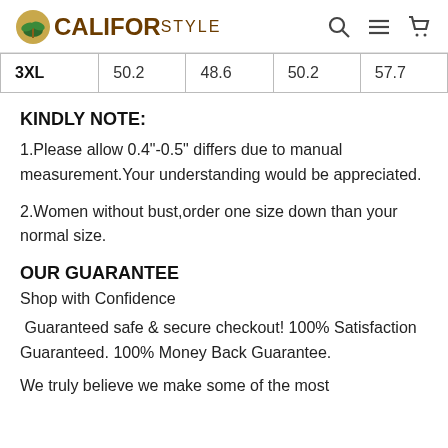CALIFORSTYLE
| 3XL | 50.2 | 48.6 | 50.2 | 57.7 |
KINDLY NOTE:
1.Please allow 0.4"-0.5" differs due to manual measurement.Your understanding would be appreciated.
2.Women without bust,order one size down than your normal size.
OUR GUARANTEE
Shop with Confidence
Guaranteed safe & secure checkout! 100% Satisfaction Guaranteed. 100% Money Back Guarantee.
We truly believe we make some of the most